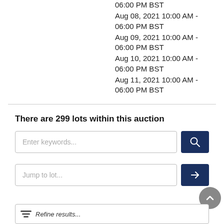06:00 PM BST
Aug 08, 2021 10:00 AM - 06:00 PM BST
Aug 09, 2021 10:00 AM - 06:00 PM BST
Aug 10, 2021 10:00 AM - 06:00 PM BST
Aug 11, 2021 10:00 AM - 06:00 PM BST
There are 299 lots within this auction
[Figure (screenshot): Search input field with placeholder 'Enter keywords...' and a dark navy search button with magnifying glass icon]
[Figure (screenshot): Jump to lot input field with placeholder 'Jump to lot...' and a dark navy arrow button, with a grey scroll-to-top circular button overlapping bottom right]
[Figure (screenshot): Partially visible refine results bar at the bottom]